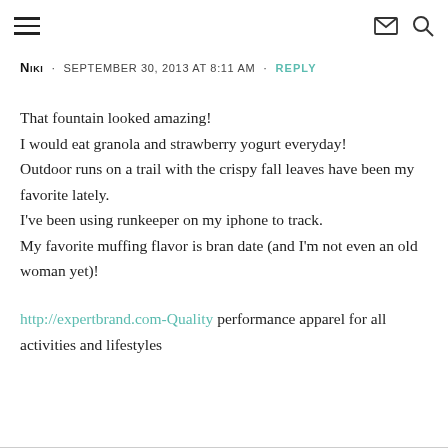≡  ✉ 🔍
NIKI · SEPTEMBER 30, 2013 AT 8:11 AM · REPLY
That fountain looked amazing!
I would eat granola and strawberry yogurt everyday!
Outdoor runs on a trail with the crispy fall leaves have been my favorite lately.
I've been using runkeeper on my iphone to track.
My favorite muffing flavor is bran date (and I'm not even an old woman yet)!

http://expertbrand.com-Quality performance apparel for all activities and lifestyles